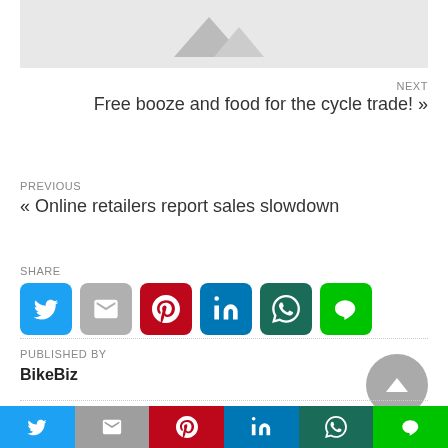[Figure (illustration): Gray placeholder image area with faint mountain/shape silhouette icon]
NEXT
Free booze and food for the cycle trade! »
PREVIOUS
« Online retailers report sales slowdown
SHARE
[Figure (other): Row of social share icon buttons: Twitter, Gmail, Pinterest, LinkedIn, WhatsApp, Line]
PUBLISHED BY
BikeBiz
[Figure (other): Gray circular scroll-to-top button with upward triangle]
11 YEARS AGO
[Figure (other): Bottom share bar with Twitter, Gmail, Pinterest, LinkedIn, WhatsApp, Line buttons]